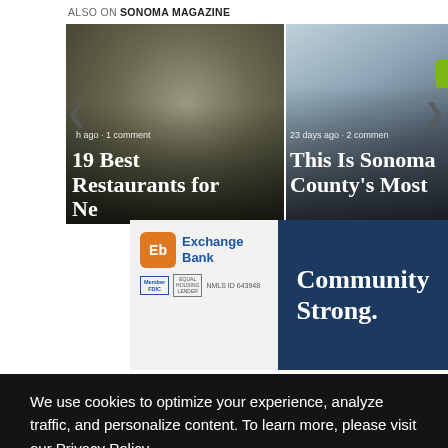ALSO ON SONOMA MAGAZINE
[Figure (photo): Carousel card 1: food photo showing a plate with meat and greens, with text '19 Best Restaurants for Ne...' and metadata 'h ago · 1 comment']
[Figure (photo): Carousel card 2: street scene photo with people walking, green logo badge visible, text 'This Is Sonoma County's Most' and metadata '23 days ago · 2 commen']
[Figure (infographic): Exchange Bank advertisement with logo (EB orange square), 'Exchange Bank', 'Member FDIC', 'NMLS ID 643948', and 'Community Strong.' text on dark blue background]
We use cookies to optimize your experience, analyze traffic, and personalize content. To learn more, please visit our Privacy Policy.
Cookie Settings
Accept Cookies